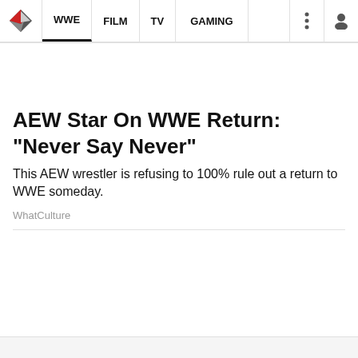WWE | FILM | TV | GAMING
AEW Star On WWE Return: "Never Say Never"
This AEW wrestler is refusing to 100% rule out a return to WWE someday.
WhatCulture